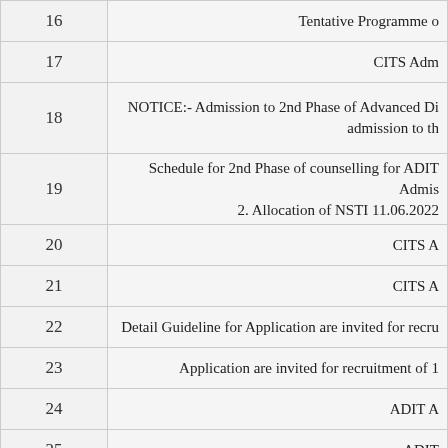| # | Description |
| --- | --- |
| 16 | Tentative Programme o… |
| 17 | CITS Adm… |
| 18 | NOTICE:- Admission to 2nd Phase of Advanced Di… admission to th… |
| 19 | Schedule for 2nd Phase of counselling for ADIT Admis… 2. Allocation of NSTI 11.06.2022… |
| 20 | CITS A… |
| 21 | CITS A… |
| 22 | Detail Guideline for Application are invited for recru… |
| 23 | Application are invited for recruitment of 1… |
| 24 | ADIT A… |
| 25 | ADIT… |